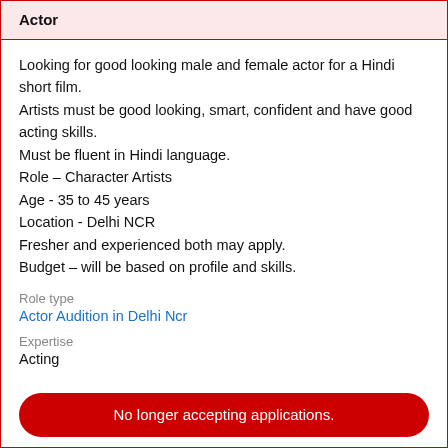Actor
Looking for good looking male and female actor for a Hindi short film.
Artists must be good looking, smart, confident and have good acting skills.
Must be fluent in Hindi language.
Role – Character Artists
Age - 35 to 45 years
Location - Delhi NCR
Fresher and experienced both may apply.
Budget – will be based on profile and skills.
Role type
Actor Audition in Delhi Ncr
Expertise
Acting
No longer accepting applications.